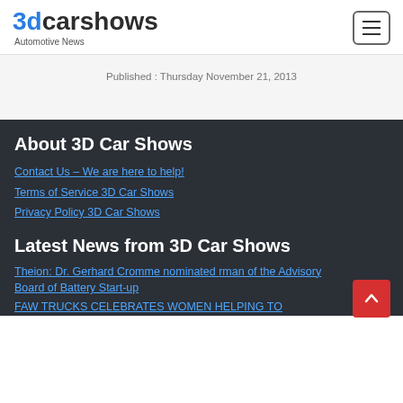3dcarshows Automotive News
Published : Thursday November 21, 2013
About 3D Car Shows
Contact Us – We are here to help!
Terms of Service 3D Car Shows
Privacy Policy 3D Car Shows
Latest News from 3D Car Shows
Theion: Dr. Gerhard Cromme nominated [Chairman] of the Advisory Board of Battery Start-up
FAW TRUCKS CELEBRATES WOMEN HELPING TO